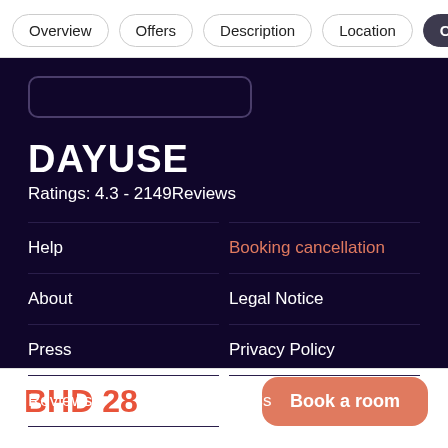Overview | Offers | Description | Location | Customer
[Figure (screenshot): Rectangle/box outline at top of dark footer section]
DAYUSE
Ratings: 4.3 - 2149Reviews
Help
Booking cancellation
About
Legal Notice
Press
Privacy Policy
Reviews
T&Cs
Contact
BHD 28
Book a room